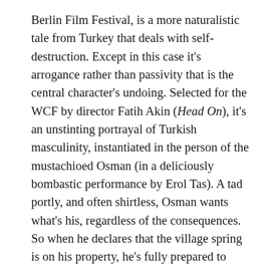Berlin Film Festival, is a more naturalistic tale from Turkey that deals with self-destruction. Except in this case it's arrogance rather than passivity that is the central character's undoing. Selected for the WCF by director Fatih Akin (Head On), it's an unstinting portrayal of Turkish masculinity, instantiated in the person of the mustachioed Osman (in a deliciously bombastic performance by Erol Tas). A tad portly, and often shirtless, Osman wants what's his, regardless of the consequences. So when he declares that the village spring is on his property, he's fully prepared to defend it to the death after denying the other villagers access to it.